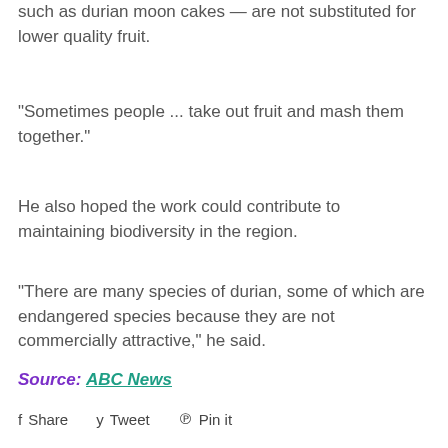such as durian moon cakes — are not substituted for lower quality fruit.
"Sometimes people ... take out fruit and mash them together."
He also hoped the work could contribute to maintaining biodiversity in the region.
"There are many species of durian, some of which are endangered species because they are not commercially attractive," he said.
Source: ABC News
Share   Tweet   Pin it